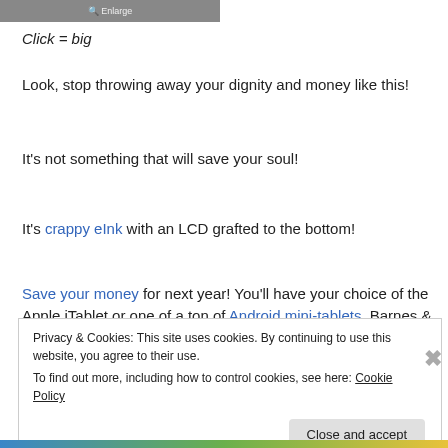[Figure (screenshot): Screenshot thumbnail with 'Enlarge' button overlay at top]
Click = big
Look, stop throwing away your dignity and money like this!
It's not something that will save your soul!
It's crappy eInk with an LCD grafted to the bottom!
Save your money for next year! You'll have your choice of the Apple iTablet or one of a ton of Android mini-tablets. Barnes & Noble's eReader software will run on all of
Privacy & Cookies: This site uses cookies. By continuing to use this website, you agree to their use.
To find out more, including how to control cookies, see here: Cookie Policy
Close and accept